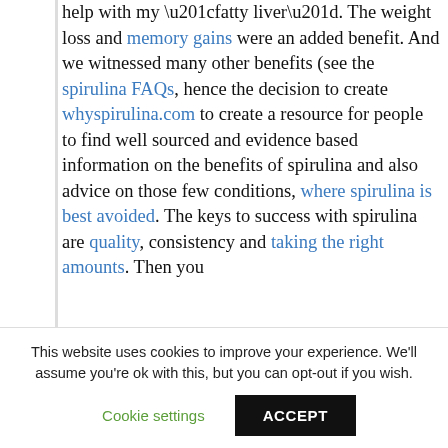help with my “fatty liver”.  The weight loss and memory gains were an added benefit.  And we witnessed many other benefits (see the spirulina FAQs, hence the decision to create whyspirulina.com to create a resource for people to find well sourced and evidence based information on the benefits of spirulina and also advice on those few conditions, where spirulina is best avoided. The keys to success with spirulina are quality, consistency and taking the right amounts.  Then you
This website uses cookies to improve your experience. We’ll assume you’re ok with this, but you can opt-out if you wish.
Cookie settings    ACCEPT